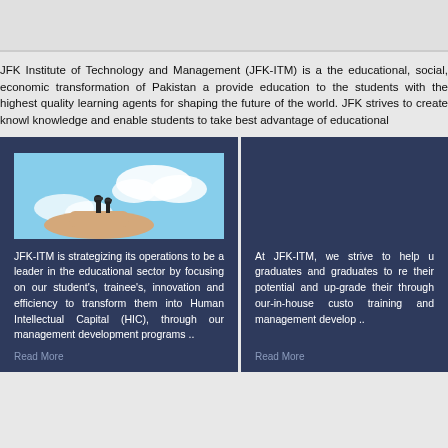JFK Institute of Technology and Management (JFK-ITM) is a the educational, social, economic transformation of Pakistan a provide education to the students with the highest quality learning agents for shaping the future of the world. JFK strives to create knowl knowledge and enable students to take best advantage of educational
[Figure (photo): A hand holding small figurines of graduating students against a blue sky with clouds background.]
JFK-ITM is strategizing its operations to be a leader in the educational sector by focusing on our student's, trainee's, innovation and efficiency to transform them into Human Intellectual Capital (HIC), through our management development programs ..
Read More
At JFK-ITM, we strive to help u graduates and graduates to re their potential and up-grade their through our-in-house custo training and management develop ..
Read More